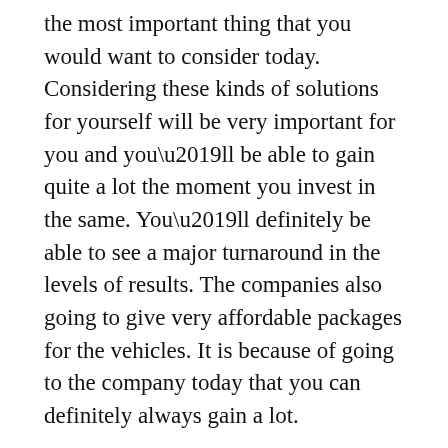the most important thing that you would want to consider today. Considering these kinds of solutions for yourself will be very important for you and you’ll be able to gain quite a lot the moment you invest in the same. You’ll definitely be able to see a major turnaround in the levels of results. The companies also going to give very affordable packages for the vehicles. It is because of going to the company today that you can definitely always gain a lot.
If you want to have custom vehicles, the companies also going to be very committed to providing you with the same. Simply because of working with the company, you’re definitely always going to get quite a lot and in the